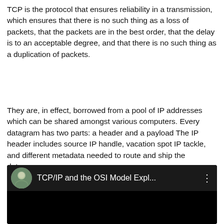TCP is the protocol that ensures reliability in a transmission, which ensures that there is no such thing as a loss of packets, that the packets are in the best order, that the delay is to an acceptable degree, and that there is no such thing as a duplication of packets.
They are, in effect, borrowed from a pool of IP addresses which can be shared amongst various computers. Every datagram has two parts: a header and a payload The IP header includes source IP handle, vacation spot IP tackle, and different metadata needed to route and ship the datagram.
[Figure (screenshot): Embedded YouTube video player showing 'TCP/IP and the OSI Model Expl...' with a circular avatar thumbnail on the left, video title text, and a three-dot menu icon. The video body area is black.]